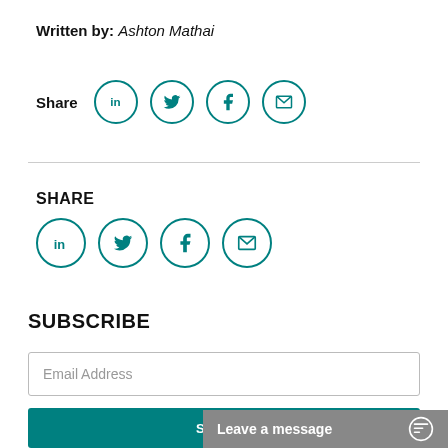Written by: Ashton Mathai
[Figure (infographic): Share icons row (LinkedIn, Twitter, Facebook, Email) with 'Share' label]
[Figure (infographic): SHARE section with LinkedIn, Twitter, Facebook, Email circle icons]
SUBSCRIBE
Email Address
SUBMIT
Leave a message